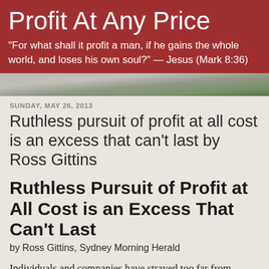Profit At Any Price
"For what shall it profit a man, if he gains the whole world, and loses his own soul?" — Jesus (Mark 8:36)
[Figure (photo): Outdoor photo strip showing trees and landscape in muted gray-green tones]
SUNDAY, MAY 26, 2013
Ruthless pursuit of profit at all cost is an excess that can't last by Ross Gittins
Ruthless Pursuit of Profit at All Cost is an Excess That Can't Last
by Ross Gittins, Sydney Morning Herald
Individuals and companies have strayed too far from recognizing the importance of human relationships,